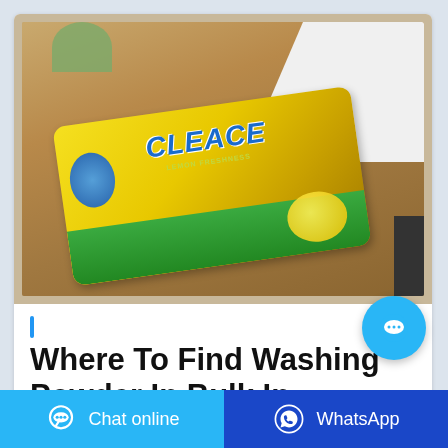[Figure (photo): A yellow bag of CLEACE lemon freshness washing powder lying on a wooden table, with a white cloth in the upper right corner and a plant in the upper left. Dark corner visible at bottom right.]
Where To Find Washing Powder In Bulk In
[Figure (other): Floating chat bubble button (light blue circle with ellipsis speech bubble icon)]
Chat online
WhatsApp